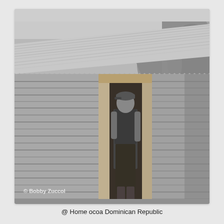[Figure (photo): Black and white photograph of a person standing in the doorway of a rustic wooden building with horizontal log siding and a corrugated metal roof. The person is wearing a cap, short-sleeved shirt, and pants. Trees are visible in the background on the right. A watermark '© Bobby Zuccol' appears in the lower-left corner of the photo.]
@ Home ocoa Dominican Republic